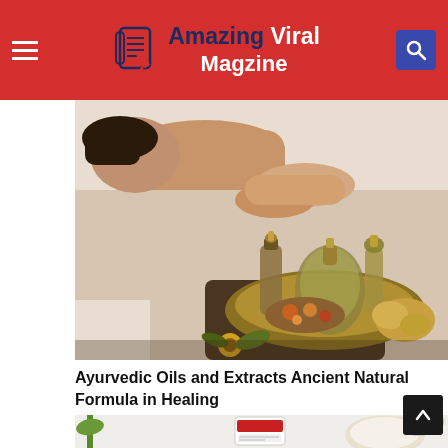Amazing Viral Magzine
[Figure (photo): Person receiving a back massage, with oil bottles and flowers on a tray in the foreground on a dark wooden table, white sheets in background.]
Ayurvedic Oils and Extracts Ancient Natural Formula in Healing
[Figure (photo): Partial view of a second image showing white background with a small bottle label and what appears to be a coconut or cream product.]